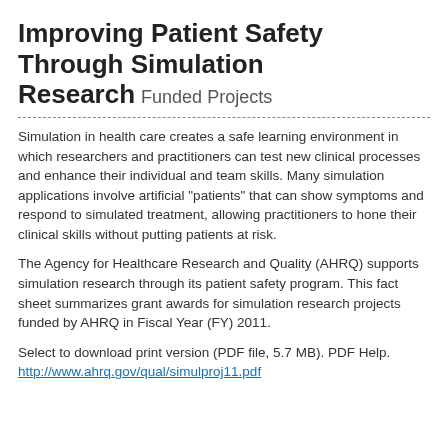Improving Patient Safety Through Simulation Research Funded Projects
Simulation in health care creates a safe learning environment in which researchers and practitioners can test new clinical processes and enhance their individual and team skills. Many simulation applications involve artificial "patients" that can show symptoms and respond to simulated treatment, allowing practitioners to hone their clinical skills without putting patients at risk.
The Agency for Healthcare Research and Quality (AHRQ) supports simulation research through its patient safety program. This fact sheet summarizes grant awards for simulation research projects funded by AHRQ in Fiscal Year (FY) 2011.
Select to download print version (PDF file, 5.7 MB). PDF Help.
http://www.ahrq.gov/qual/simulproj11.pdf